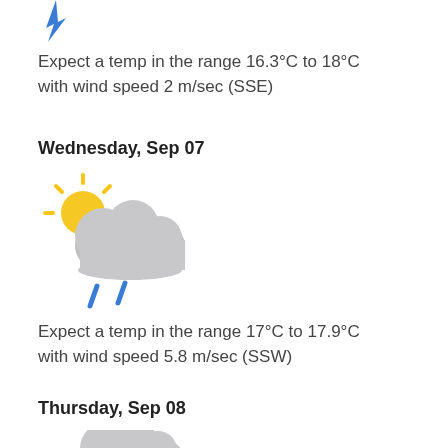[Figure (illustration): Blue rain drop / rain icon at top of page (partial, cropped)]
Expect a temp in the range 16.3°C to 18°C with wind speed 2 m/sec (SSE)
Wednesday, Sep 07
[Figure (illustration): Partly cloudy with rain weather icon: sun behind cloud with two blue rain drops]
Expect a temp in the range 17°C to 17.9°C with wind speed 5.8 m/sec (SSW)
Thursday, Sep 08
[Figure (illustration): Cloud weather icon (partially visible, cropped at bottom)]